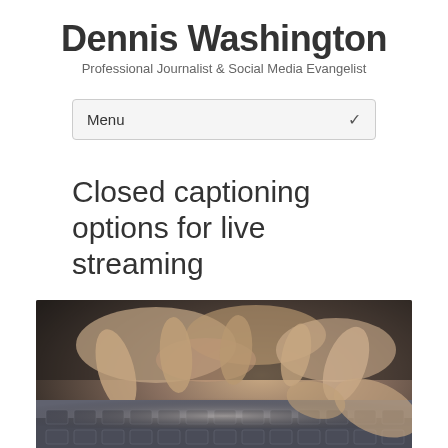Dennis Washington
Professional Journalist & Social Media Evangelist
Menu
Closed captioning options for live streaming
[Figure (photo): Close-up photo of hands typing on a laptop keyboard, shallow depth of field, dark background]